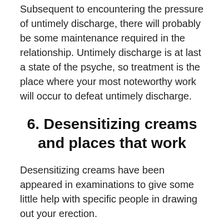Subsequent to encountering the pressure of untimely discharge, there will probably be some maintenance required in the relationship. Untimely discharge is at last a state of the psyche, so treatment is the place where your most noteworthy work will occur to defeat untimely discharge.
6. Desensitizing creams and places that work
Desensitizing creams have been appeared in examinations to give some little help with specific people in drawing out your erection.
Also, having your accomplice maintain a strategic distance from certain sexual places that quickly tri…